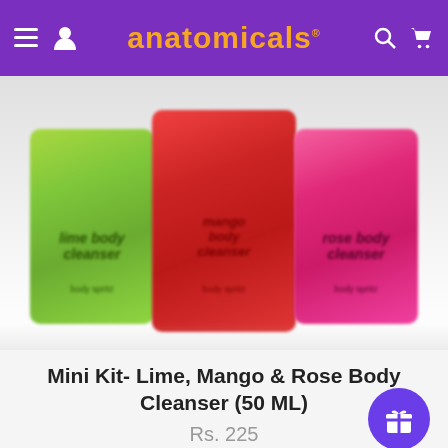anatomicals
[Figure (photo): Three colorful body cleanser bottles (lime green, red, hot pink) on a white background, slightly blurred/out of focus]
Mini Kit- Lime, Mango & Rose Body Cleanser (50 ML)
Rs. 225